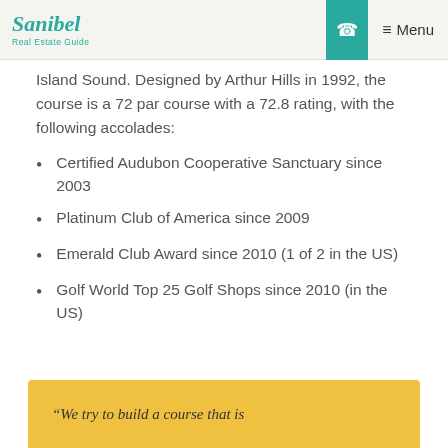Sanibel Real Estate Guide | Menu
Island Sound. Designed by Arthur Hills in 1992, the course is a 72 par course with a 72.8 rating, with the following accolades:
Certified Audubon Cooperative Sanctuary since 2003
Platinum Club of America since 2009
Emerald Club Award since 2010 (1 of 2 in the US)
Golf World Top 25 Golf Shops since 2010 (in the US)
“We try to build a course that is